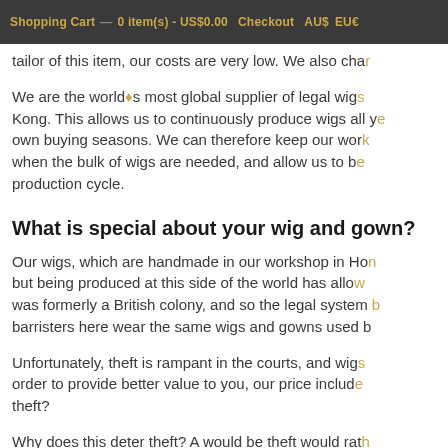Shopping Cart   0 item(s) - US$0.00   Checkout   AU$   EU€
We believe in providing our services for a fair value. As the tailor of this item, our costs are very low. We also cha...
We are the world's most global supplier of legal wigs... Kong. This allows us to continuously produce wigs all y... own buying seasons. We can therefore keep our work... when the bulk of wigs are needed, and allow us to be... production cycle.
What is special about your wig and gown?
Our wigs, which are handmade in our workshop in Ho... but being produced at this side of the world has allow... was formerly a British colony, and so the legal system b... barristers here wear the same wigs and gowns used b...
Unfortunately, theft is rampant in the courts, and wigs... order to provide better value to you, our price include... theft?
Why does this deter theft? A would be theft would rath... inside of their wigs and gowns. They would rather stea...